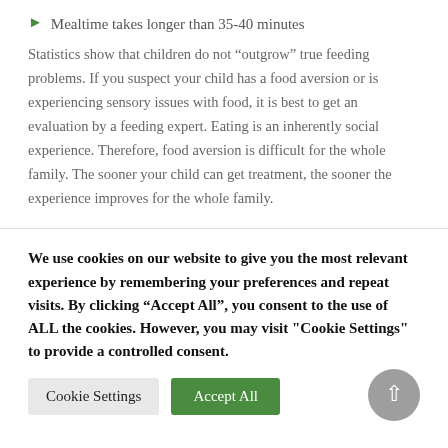Mealtime takes longer than 35-40 minutes
Statistics show that children do not “outgrow” true feeding problems. If you suspect your child has a food aversion or is experiencing sensory issues with food, it is best to get an evaluation by a feeding expert. Eating is an inherently social experience. Therefore, food aversion is difficult for the whole family. The sooner your child can get treatment, the sooner the experience improves for the whole family.
We use cookies on our website to give you the most relevant experience by remembering your preferences and repeat visits. By clicking “Accept All”, you consent to the use of ALL the cookies. However, you may visit "Cookie Settings" to provide a controlled consent.